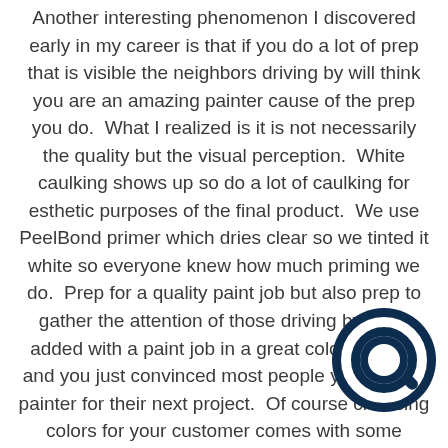Another interesting phenomenon I discovered early in my career is that if you do a lot of prep that is visible the neighbors driving by will think you are an amazing painter cause of the prep you do.  What I realized is it is not necessarily the quality but the visual perception.  White caulking shows up so do a lot of caulking for esthetic purposes of the final product.  We use PeelBond primer which dries clear so we tinted it white so everyone knew how much priming we do.  Prep for a quality paint job but also prep to gather the attention of those driving by. Now added with a paint job in a great color scheme and you just convinced most people you are the painter for their next project.  Of course choosing colors for your customer comes with some liability. I will discuss two things to consider that will significantly decrease your liability. In 18 years of painting, my choice of colors only caused me to have to repaint an exterior
[Figure (logo): Dark navy circular logo with a stylized letter Q or chat bubble icon]